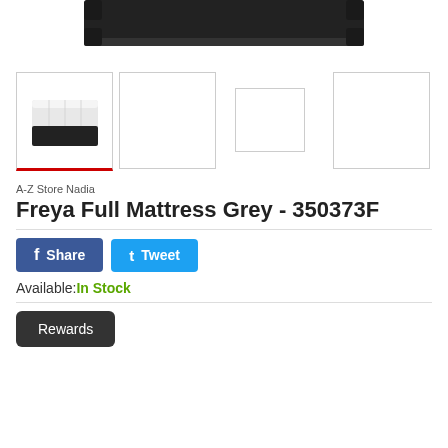[Figure (photo): Top portion of a mattress product image, showing a dark/black base, cropped at the top of the page]
[Figure (photo): Row of four product thumbnail images. First thumbnail shows a grey and black mattress (active/selected with red underline). Second, third, and fourth thumbnails are empty/blank white boxes.]
A-Z Store Nadia
Freya Full Mattress Grey - 350373F
[Figure (infographic): Facebook Share button (blue) and Twitter Tweet button (light blue)]
Available: In Stock
Rewards